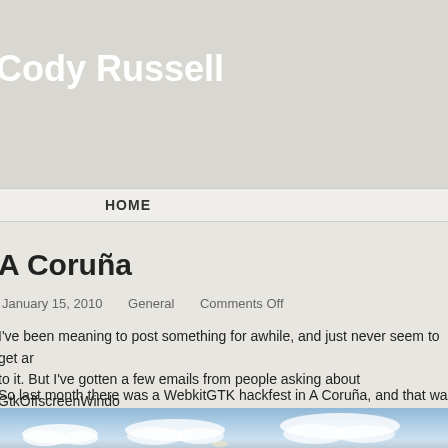Cody Russell
HOME
A Coruña
January 15, 2010   General   Comments Off
I've been meaning to post something for awhile, and just never seem to get around to it. But I've gotten a few emails from people asking about GtkOffscreenWindow, so I figured I should post something about it.
So last month there was a WebkitGTK hackfest in A Coruña, and that was really cool. Nice to see some friends again and to meet some cool new people.
[Figure (photo): Sky with clouds photograph, light blue sky with white cumulus clouds]